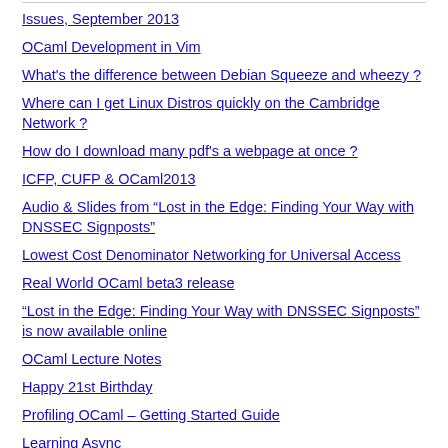Issues, September 2013
OCaml Development in Vim
What's the difference between Debian Squeeze and wheezy ?
Where can I get Linux Distros quickly on the Cambridge Network ?
How do I download many pdf's a webpage at once ?
ICFP, CUFP & OCaml2013
Audio & Slides from “Lost in the Edge: Finding Your Way with DNSSEC Signposts”
Lowest Cost Denominator Networking for Universal Access
Real World OCaml beta3 release
“Lost in the Edge: Finding Your Way with DNSSEC Signposts” is now available online
OCaml Lecture Notes
Happy 21st Birthday
Profiling OCaml – Getting Started Guide
Learning Async
Legality of Wi-Fi Sharing
Talk: “Ubiquitous Access to Public Services Online with PAWS”
Simone + Plemi...